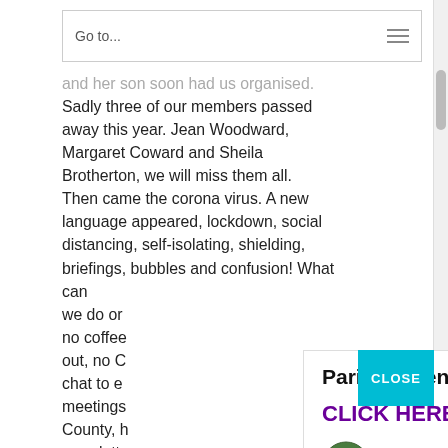Go to...
and her son soon had us organised. Sadly three of our members passed away this year. Jean Woodward, Margaret Coward and Sheila Brotherton, we will miss them all. Then came the corona virus. A new language appeared, lockdown, social distancing, self-isolating, shielding, briefings, bubbles and confusion! What can we do or no coffee out, no C chat to e meetings County, h newslett relevant information is still passed out, we
[Figure (other): Parish Calendar popup overlay with 'Parish Calendar' heading, 'CLICK HERE' in purple bold text, and The Parish of Holy Trinity Bolton Le Sands logo at bottom. A teal CLOSE button appears in top right corner of popup.]